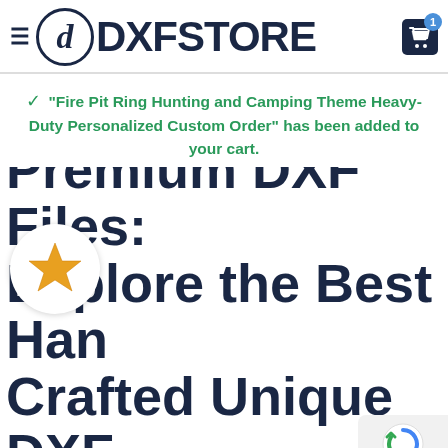[Figure (logo): DXF Store logo with circular 'd' icon and bold DXFSTORE text, plus hamburger menu icon and cart icon with badge showing '1']
✔ "Fire Pit Ring Hunting and Camping Theme Heavy-Duty Personalized Custom Order" has been added to your cart.
Free DXF Files and Premium DXF Files: Explore the Best Hand Crafted Unique DXF
[Figure (logo): Trustpilot-style star rating badge — orange star on white circle]
[Figure (screenshot): reCAPTCHA badge with spinning arrows logo and 'Privacy - Terms' text]